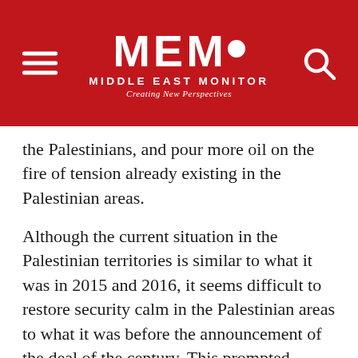MEMO MIDDLE EAST MONITOR Creating New Perspectives
the Palestinians, and pour more oil on the fire of tension already existing in the Palestinian areas.
Although the current situation in the Palestinian territories is similar to what it was in 2015 and 2016, it seems difficult to restore security calm in the Palestinian areas to what it was before the announcement of the deal of the century. This prompted Israeli security circles to ask politicians to stop their talk of possible annexation in the West Bank, because that would also harm security cooperation with the Palestinian Authority.